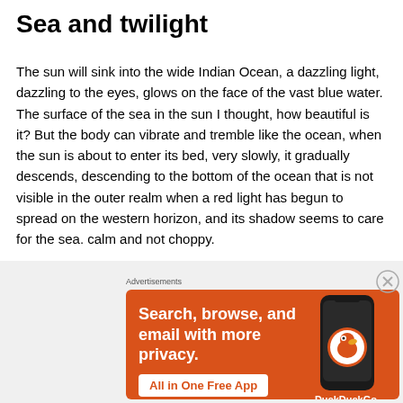Sea and twilight
The sun will sink into the wide Indian Ocean, a dazzling light, dazzling to the eyes, glows on the face of the vast blue water. The surface of the sea in the sun I thought, how beautiful is it? But the body can vibrate and tremble like the ocean, when the sun is about to enter its bed, very slowly, it gradually descends, descending to the bottom of the ocean that is not visible in the outer realm when a red light has begun to spread on the western horizon, and its shadow seems to care for the sea. calm and not choppy.
[Figure (infographic): DuckDuckGo advertisement banner with orange background. Text reads 'Search, browse, and email with more privacy. All in One Free App' with a phone illustration and DuckDuckGo logo.]